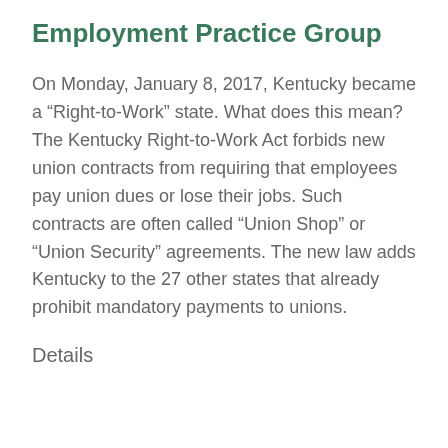Employment Practice Group
On Monday, January 8, 2017, Kentucky became a “Right-to-Work” state. What does this mean? The Kentucky Right-to-Work Act forbids new union contracts from requiring that employees pay union dues or lose their jobs. Such contracts are often called “Union Shop” or “Union Security” agreements. The new law adds Kentucky to the 27 other states that already prohibit mandatory payments to unions.
Details